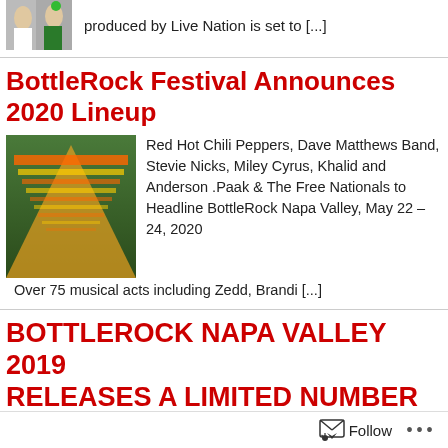produced by Live Nation is set to [...]
BottleRock Festival Announces 2020 Lineup
[Figure (photo): BottleRock 2020 lineup poster with colorful concert imagery]
Red Hot Chili Peppers, Dave Matthews Band, Stevie Nicks, Miley Cyrus, Khalid and Anderson .Paak & The Free Nationals to Headline BottleRock Napa Valley, May 22 – 24, 2020   Over 75 musical acts including Zedd, Brandi [...]
BOTTLEROCK NAPA VALLEY 2019 RELEASES A LIMITED NUMBER OF PRE-SALE PASSES
[Figure (photo): Crowd at BottleRock Napa Valley festival]
Passes available on December 5 at 10 a.m. PST while supplies last The 3-Day Music, Wine, Culinary and Craft Brew Festival takes place May 24 – 26, 2019 November 26, 2018 at...